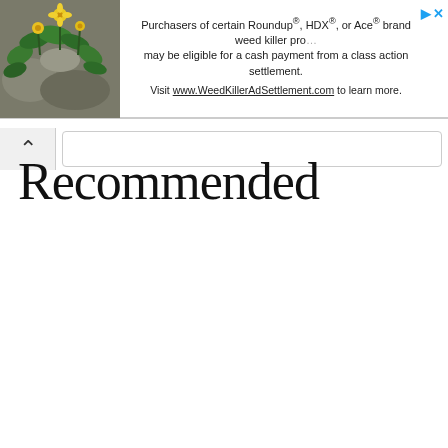[Figure (photo): Green plant with yellow flowers on a stone/rock background, used as ad banner image]
Purchasers of certain Roundup®, HDX®, or Ace® brand weed killer products may be eligible for a cash payment from a class action settlement. Visit www.WeedKillerAdSettlement.com to learn more.
Recommended